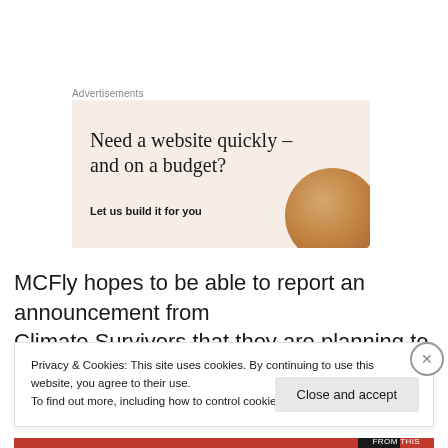Advertisements
[Figure (illustration): Advertisement banner with beige/light pink background showing text 'Need a website quickly – and on a budget?' and subtext 'Let us build it for you', with a partial circular golden-brown image on the right side]
MCFly hopes to be able to report an announcement from Climate Survivors that they are planning to run a similar
Privacy & Cookies: This site uses cookies. By continuing to use this website, you agree to their use.
To find out more, including how to control cookies, see here: Cookie Policy
Close and accept